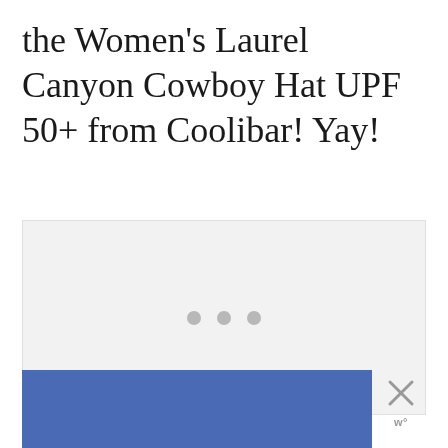the Women's Laurel Canyon Cowboy Hat UPF 50+ from Coolibar! Yay!
[Figure (other): Large light gray placeholder content area with three gray dots (loading indicator) centered near the bottom portion of the box]
[Figure (other): Blue rectangle banner/advertisement area at the bottom with an X close button and a 'w' Mediavine logo icon to the right]